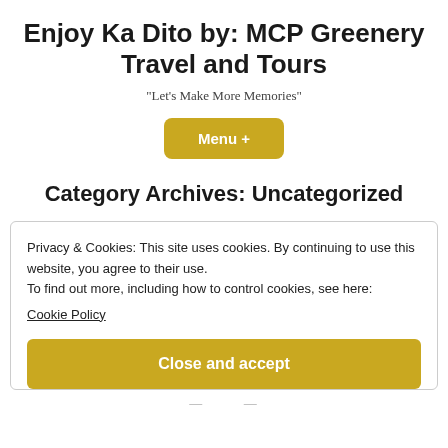Enjoy Ka Dito by: MCP Greenery Travel and Tours
"Let's Make More Memories"
Menu +
Category Archives: Uncategorized
Privacy & Cookies: This site uses cookies. By continuing to use this website, you agree to their use.
To find out more, including how to control cookies, see here:
Cookie Policy
Close and accept